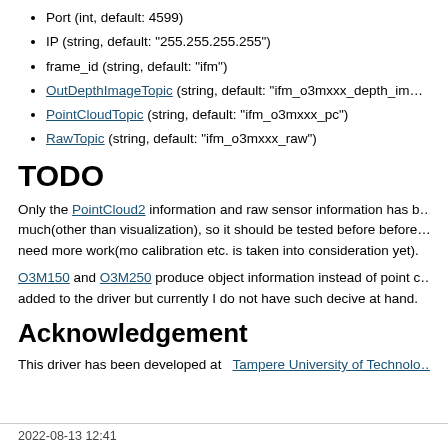Port (int, default: 4599)
IP (string, default: "255.255.255.255")
frame_id (string, default: "ifm")
OutDepthImageTopic (string, default: "ifm_o3mxxx_depth_im…")
PointCloudTopic (string, default: "ifm_o3mxxx_pc")
RawTopic (string, default: "ifm_o3mxxx_raw")
TODO
Only the PointCloud2 information and raw sensor information has b… much(other than visualization), so it should be tested before before… need more work(mo calibration etc. is taken into consideration yet).
O3M150 and O3M250 produce object information instead of point c… added to the driver but currently I do not have such decive at hand.
Acknowledgement
This driver has been developed at  Tampere University of Technolo…
2022-08-13 12:41